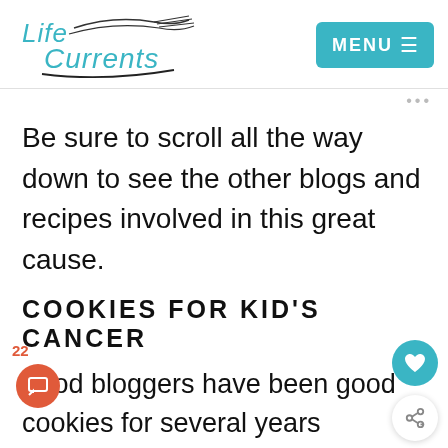Life Currents | MENU
Be sure to scroll all the way down to see the other blogs and recipes involved in this great cause.
COOKIES FOR KID'S CANCER
Food bloggers have been good cookies for several years showing their support for Cookies for Kid's Cancer and I'm helping to continue